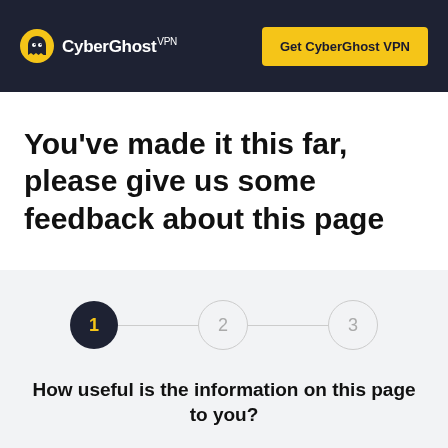CyberGhost VPN — Get CyberGhost VPN
You've made it this far, please give us some feedback about this page
[Figure (infographic): Step indicator with 3 circles connected by lines. Step 1 is active (dark circle with yellow number), steps 2 and 3 are inactive (light outlined circles).]
How useful is the information on this page to you?